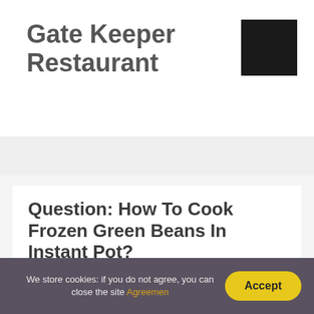Gate Keeper Restaurant
[Figure (other): Dark square logo block for Gate Keeper Restaurant]
Question: How To Cook Frozen Green Beans In Instant Pot?
Posted on by Oliver Fitzgerald
We store cookies: if you do not agree, you can close the site Agreemen